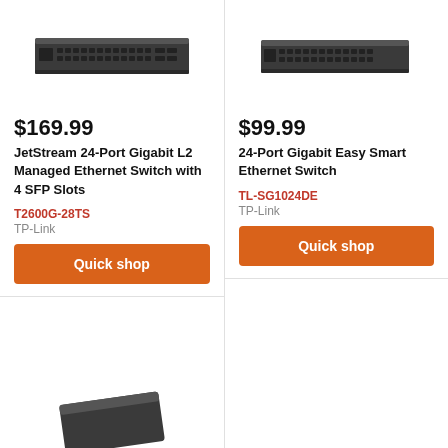[Figure (photo): TP-Link T2600G-28TS JetStream 24-port gigabit managed ethernet switch, dark gray rack-mount unit with ports visible]
$169.99
JetStream 24-Port Gigabit L2 Managed Ethernet Switch with 4 SFP Slots
T2600G-28TS
TP-Link
Quick shop
[Figure (photo): TP-Link TL-SG1024DE 24-port gigabit easy smart ethernet switch, dark gray rack-mount unit with ports visible]
$99.99
24-Port Gigabit Easy Smart Ethernet Switch
TL-SG1024DE
TP-Link
Quick shop
[Figure (photo): Partial view of a third network switch product, dark gray device partially visible at bottom of page]